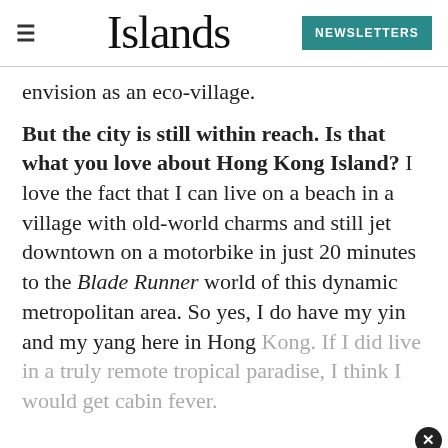Islands | NEWSLETTERS
envision as an eco-village.
But the city is still within reach. Is that what you love about Hong Kong Island? I love the fact that I can live on a beach in a village with old-world charms and still jet downtown on a motorbike in just 20 minutes to the Blade Runner world of this dynamic metropolitan area. So yes, I do have my yin and my yang here in Hong Kong. If I did live in a truly remote tropical paradise, I think I would get cabin fever.